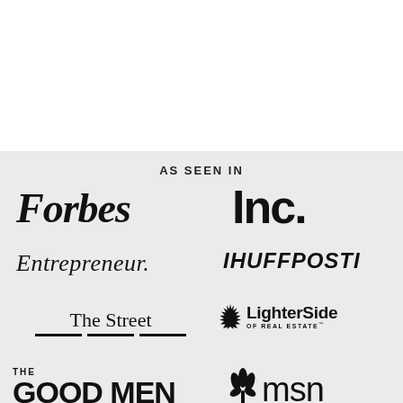AS SEEN IN
[Figure (logo): Forbes logo in bold italic serif font]
[Figure (logo): Inc. logo in bold sans-serif]
[Figure (logo): Entrepreneur logo in italic serif]
[Figure (logo): HuffPost logo in bold italic sans-serif]
[Figure (logo): The Street logo with decorative horizontal lines]
[Figure (logo): LighterSide of Real Estate logo with starburst icon]
[Figure (logo): The Good Men logo in heavy sans-serif, partially visible]
[Figure (logo): MSN logo with flower/tulip icon, partially visible]